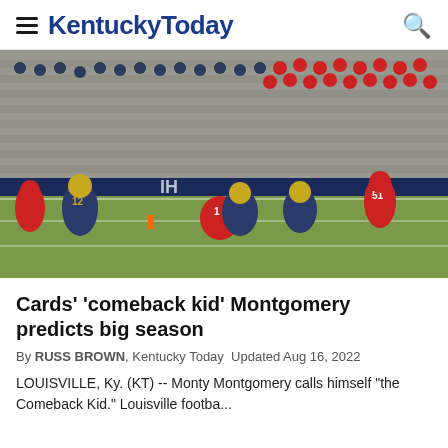KentuckyToday
[Figure (photo): College football game action photo showing players in navy/gold uniforms (Notre Dame) and red uniforms tackling on the field, with stands and spectators in background, player #12 and #51 visible]
Cards' 'comeback kid' Montgomery predicts big season
By RUSS BROWN, Kentucky Today  Updated Aug 16, 2022
LOUISVILLE, Ky. (KT) -- Monty Montgomery calls himself "the Comeback Kid." Louisville footba...